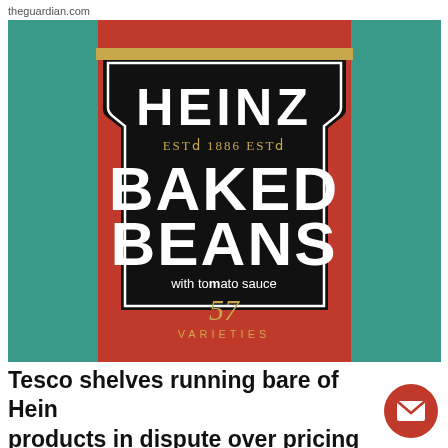theguardian.com
[Figure (photo): Close-up of a Heinz Baked Beans can with green teal label on red background. Label shows HEINZ in large white letters, ESTD 1886 ESTD, BAKED BEANS in bold white, with tomato sauce, 57 VARIETIES in gold.]
Tesco shelves running bare of Heinz products in dispute over pricing